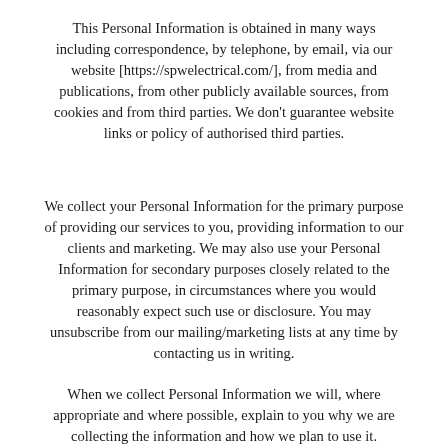This Personal Information is obtained in many ways including correspondence, by telephone, by email, via our website [https://spwelectrical.com/], from media and publications, from other publicly available sources, from cookies and from third parties. We don't guarantee website links or policy of authorised third parties.
We collect your Personal Information for the primary purpose of providing our services to you, providing information to our clients and marketing. We may also use your Personal Information for secondary purposes closely related to the primary purpose, in circumstances where you would reasonably expect such use or disclosure. You may unsubscribe from our mailing/marketing lists at any time by contacting us in writing.
When we collect Personal Information we will, where appropriate and where possible, explain to you why we are collecting the information and how we plan to use it.